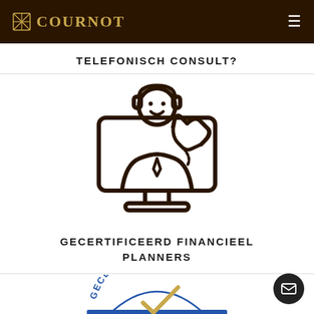COURNOT
TELEFONISCH CONSULT?
[Figure (illustration): Icon of a customer service representative at a computer monitor, holding a telephone handset, wearing a headset, rendered in dark brown line art style]
GECERTIFICEERD FINANCIEEL PLANNERS
[Figure (logo): Partially visible certified financial planners badge/stamp in blue and gold colors showing the word GECERTIFICEERD in an arc]